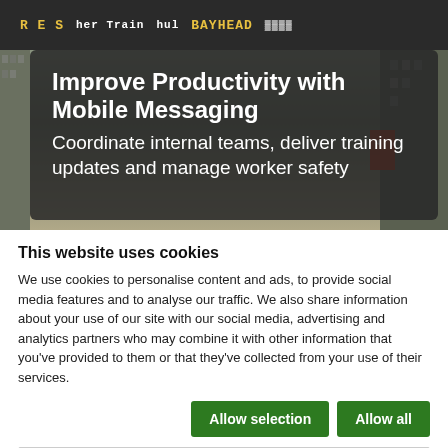[Figure (screenshot): Hero image of a train station departure board at night with a dark semi-transparent overlay box containing the headline text.]
Improve Productivity with Mobile Messaging
Coordinate internal teams, deliver training updates and manage worker safety
This website uses cookies
We use cookies to personalise content and ads, to provide social media features and to analyse our traffic. We also share information about your use of our site with our social media, advertising and analytics partners who may combine it with other information that you've provided to them or that they've collected from your use of their services.
Allow selection | Allow all | Necessary | Preferences | Statistics | Marketing | Show details